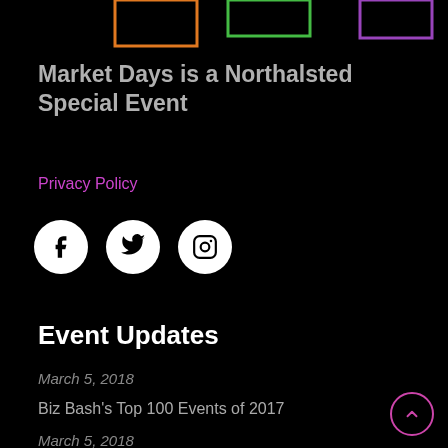[Figure (illustration): Three decorative colored outline rectangles at the top: orange on the left, green in the center, purple on the right, on a black background.]
Market Days is a Northalsted Special Event
Privacy Policy
[Figure (illustration): Three white circular social media icon buttons: Facebook (f), Twitter (bird), Instagram (camera).]
Event Updates
March 5, 2018
Biz Bash's Top 100 Events of 2017
March 5, 2018